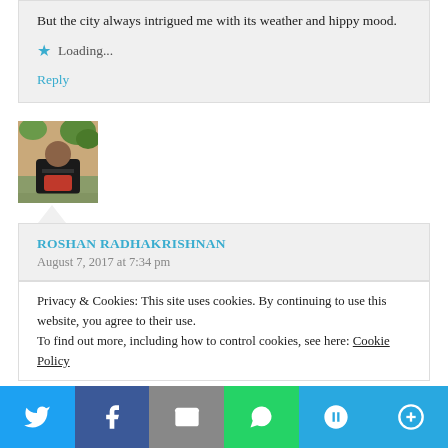But the city always intrigued me with its weather and hippy mood.
Loading...
Reply
[Figure (photo): Avatar photo of a person sitting indoors with plants in background]
ROSHAN RADHAKRISHNAN
August 7, 2017 at 7:34 pm
Privacy & Cookies: This site uses cookies. By continuing to use this website, you agree to their use. To find out more, including how to control cookies, see here: Cookie Policy
[Figure (infographic): Social share bar with Twitter, Facebook, Email, WhatsApp, SMS, and More buttons]